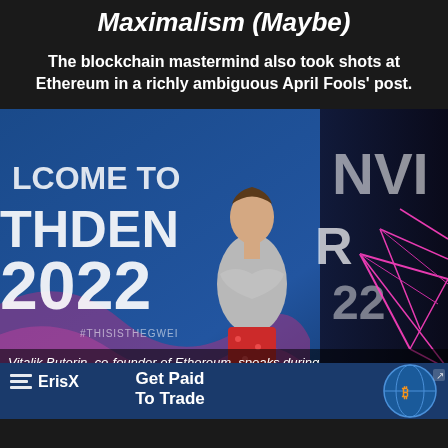Maximalism (Maybe)
The blockchain mastermind also took shots at Ethereum in a richly ambiguous April Fools' post.
[Figure (photo): Vitalik Buterin speaking on stage at ETHDenver 2022, wearing a grey t-shirt and red patterned pajama pants, in front of a large LED backdrop reading WELCOME TO THDENVER 2022 with #THISISTHEGWEI hashtag. Right side shows an NVI sign with neon pink geometric design.]
Vitalik Buterin, co-founder of Ethereum, speaks during ETHDenver in Denver, Colorado, on Friday, Feb. 18, 2022. (C...
[Figure (other): ErisX advertisement banner: Get Paid To Trade, with globe/bitcoin graphic]